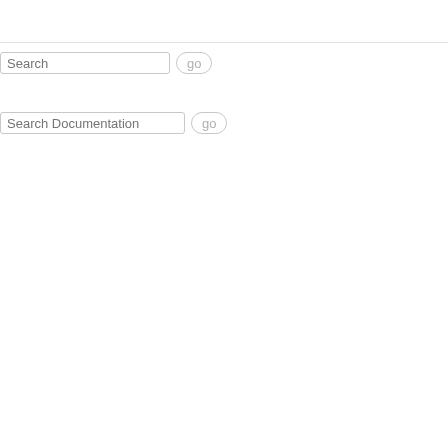[Figure (screenshot): A search input field with placeholder text 'Search' and a rounded 'go' button beside it]
[Figure (screenshot): A search input field with placeholder text 'Search Documentation' and a rounded 'go' button beside it]